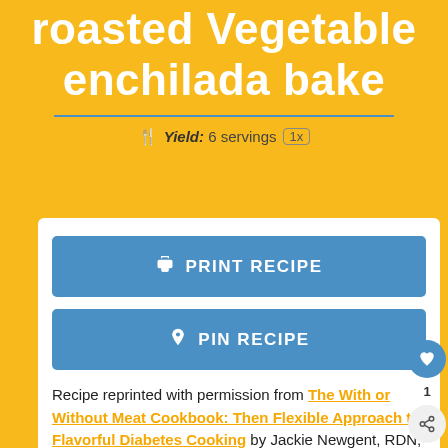roasted Vegetable enchilada bake
Yield: 6 servings 1x
PRINT RECIPE
PIN RECIPE
Recipe reprinted with permission from The With or Without Meat Cookbook: Then Flexible Approach to Flavorful Diabetes Cooking by Jackie Newgent, RDN, CDN